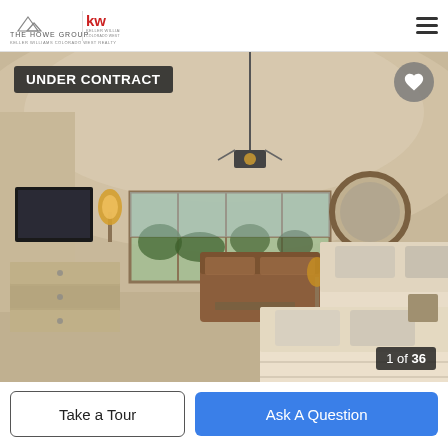[Figure (logo): The Howe Group and Keller Williams logos in the header]
[Figure (photo): Interior bedroom photo of a luxury property showing two beds, sitting area, windows with mountain views, lantern-style chandelier, vaulted textured ceiling, and dresser. Overlaid with 'UNDER CONTRACT' badge, a heart/favorite button, and '1 of 36' photo counter.]
Take a Tour
Ask A Question